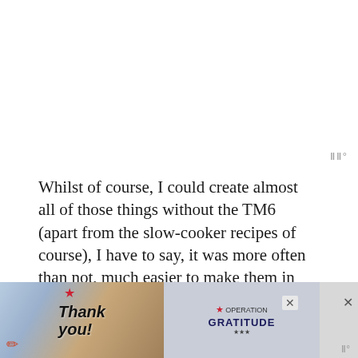Whilst of course, I could create almost all of those things without the TM6 (apart from the slow-cooker recipes of course), I have to say, it was more often than not, much easier to make them in the Thermomix.
Both custard and hollandaise didn't require me to constantly stand there constantly stirring until it came together. Soup didn't require me to chop anything by hand or blend it together. I didn't have to use my stick blender for pesto...
[Figure (screenshot): Advertisement banner at bottom of page: 'Thank you!' with American flag and Operation Gratitude logo with group photo of people in uniform]